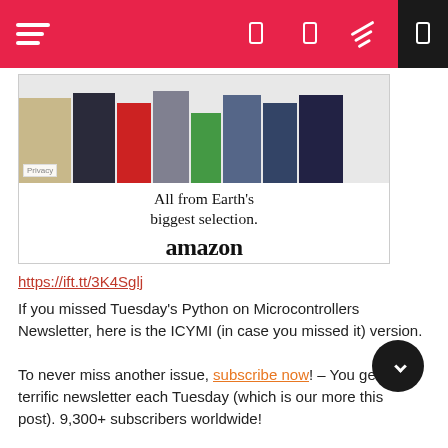[Figure (screenshot): Red navigation bar with hamburger menu on the left and icons on the right including a dark box with an icon]
[Figure (photo): Amazon advertisement banner showing various products (bag, shoes, watch, PS4, kitchen mixer, smoothie, books, Kindle devices, Star Trek movie) with text 'All from Earth's biggest selection.' and Amazon logo with arrow]
https://ift.tt/3K4Sglj
If you missed Tuesday's Python on Microcontrollers Newsletter, here is the ICYMI (in case you missed it) version.
To never miss another issue, subscribe now! – You get one terrific newsletter each Tuesday (which is our more this post). 9,300+ subscribers worldwide!
The next newsletter goes out in a week and being